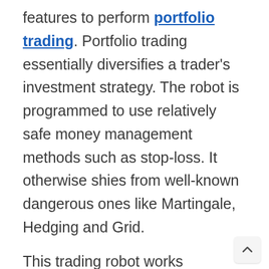features to perform portfolio trading. Portfolio trading essentially diversifies a trader's investment strategy. The robot is programmed to use relatively safe money management methods such as stop-loss. It otherwise shies from well-known dangerous ones like Martingale, Hedging and Grid.
This trading robot works tirelessly every day to ensure you get and keep stable profits. It's suitable for both professional and amateur traders because of its simple user